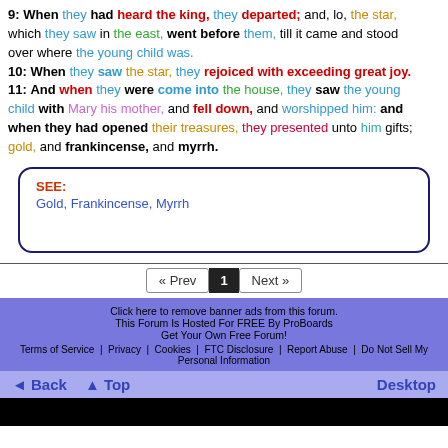9: When they had heard the king, they departed; and, lo, the star, which they saw in the east, went before them, till it came and stood over where the young child was. 10: When they saw the star, they rejoiced with exceeding great joy. 11: And when they were come into the house, they saw the young child with Mary his mother, and fell down, and worshipped him: and when they had opened their treasures, they presented unto him gifts; gold, and frankincense, and myrrh.
SEE:
Gold, Frankincense, Myrrh
« Prev  1  Next »
Click here to remove banner ads from this forum.
This Forum Is Hosted For FREE By ProBoards
Get Your Own Free Forum!
Terms of Service   Privacy   Cookies   FTC Disclosure   Report Abuse   Do Not Sell My Personal Information
◄ Back   ▲ Top   Desktop